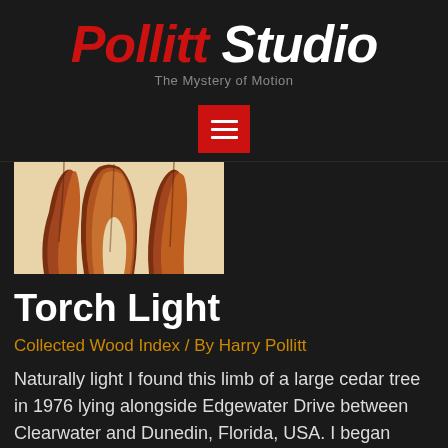Pollitt Studio – The Mystery of Motion
[Figure (other): Hamburger menu button with three horizontal white lines on a red background]
[Figure (photo): Close-up photograph of a polished wooden sculpture shaped like a torch or curved limb, brown-orange tones, on light background]
Torch Light
Collected Wood Index / By Harry Pollitt
Naturally light I found this limb of a large cedar tree in 1976 lying alongside Edgewater Drive between Clearwater and Dunedin, Florida, USA. I began working on it in 1994. The extreme interval of time was spent waiting for my crea